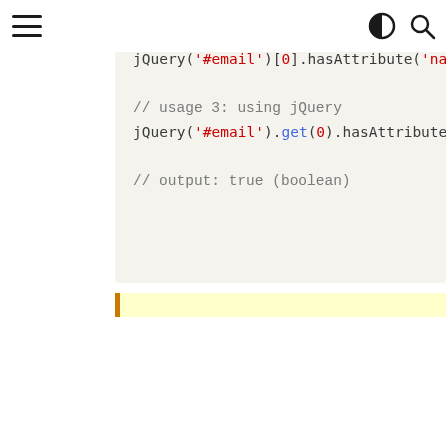[Figure (screenshot): Navigation bar with hamburger menu icon on left, half-circle/contrast icon and search magnifier icon on right]
// usage 2: using jQuery
jQuery('#email')[0].hasAttribute('name')

// usage 3: using jQuery
jQuery('#email').get(0).hasAttribute('na

// output: true (boolean)
[Figure (screenshot): Yellow highlighted note bar with orange left border]